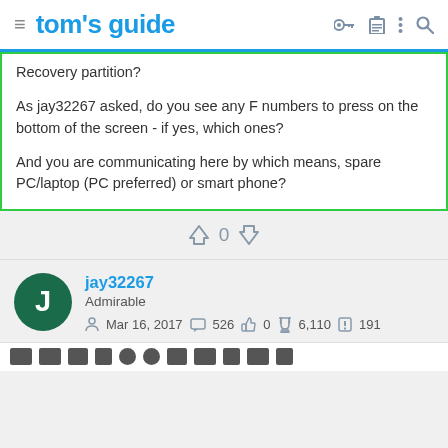tom's guide
Recovery partition?

As jay32267 asked, do you see any F numbers to press on the bottom of the screen - if yes, which ones?

And you are communicating here by which means, spare PC/laptop (PC preferred) or smart phone?
0
jay32267
Admirable
Mar 16, 2017  526  0  6,110  191